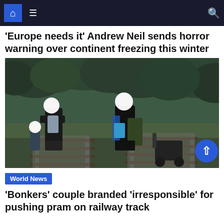Navigation bar with home, menu, and search icons
'Europe needs it' Andrew Neil sends horror warning over continent freezing this winter
[Figure (photo): Aerial photo of a family with children and a pram walking on railway tracks, with faces blurred/obscured by white circles. Vegetation visible in background.]
World News
'Bonkers' couple branded 'irresponsible' for pushing pram on railway track